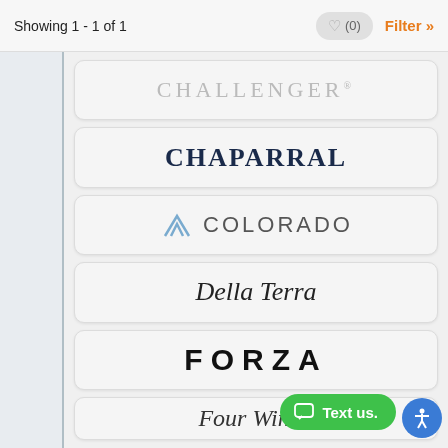Showing 1 - 1 of 1
[Figure (logo): CHALLENGER brand logo in light gray serif uppercase text with trademark symbol]
[Figure (logo): CHAPARRAL brand logo in dark navy bold serif uppercase text]
[Figure (logo): Colorado brand logo with mountain peak icon and uppercase spaced letters in gray]
[Figure (logo): Della Terra brand logo in black italic cursive script]
[Figure (logo): FORZA brand logo in heavy black wide-spaced uppercase sans-serif]
[Figure (logo): Four Winds brand logo in black italic cursive script, partially visible]